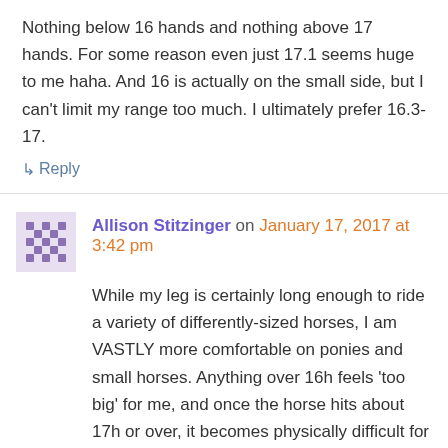Nothing below 16 hands and nothing above 17 hands. For some reason even just 17.1 seems huge to me haha. And 16 is actually on the small side, but I can't limit my range too much. I ultimately prefer 16.3-17.
↳ Reply
Allison Stitzinger on January 17, 2017 at 3:42 pm
While my leg is certainly long enough to ride a variety of differently-sized horses, I am VASTLY more comfortable on ponies and small horses. Anything over 16h feels 'too big' for me, and once the horse hits about 17h or over, it becomes physically difficult for me to ride and keep together. Despite the fact that the jumps